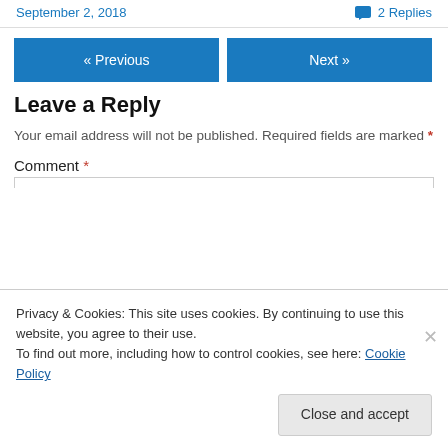September 2, 2018   💬 2 Replies
« Previous   Next »
Leave a Reply
Your email address will not be published. Required fields are marked *
Comment *
Privacy & Cookies: This site uses cookies. By continuing to use this website, you agree to their use.
To find out more, including how to control cookies, see here: Cookie Policy